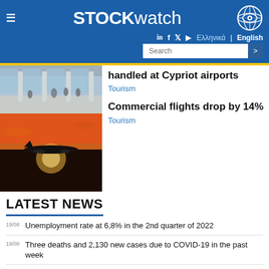STOCKwatch — Ελληνικά | English
handled at Cypriot airports
Tourism
Commercial flights drop by 14%
Tourism
LATEST NEWS
19/08 Unemployment rate at 6,8% in the 2nd quarter of 2022
19/08 Three deaths and 2,130 new cases due to COVID-19 in the past week
19/08 Cyprus annual inflation rate at 10.6%, higher than eurozone and EU averages